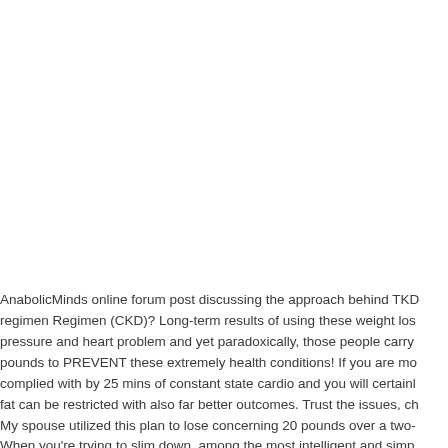AnabolicMinds online forum post discussing the approach behind TKD regimen Regimen (CKD)? Long-term results of using these weight loss pressure and heart problem and yet paradoxically, those people carry pounds to PREVENT these extremely health conditions! If you are mo complied with by 25 mins of constant state cardio and you will certainl fat can be restricted with also far better outcomes. Trust the issues, ch My spouse utilized this plan to lose concerning 20 pounds over a two- When you're trying to slim down, among the most intelligent and simp meals diary. So when people ask me exactly what I did to shed nearly and eating ideal and somehow that's hard to believe for some people. comprehensive methods, however likewise reveals you step by step e to burn fat quickly and healthy at home. I can handle the cravings at ti